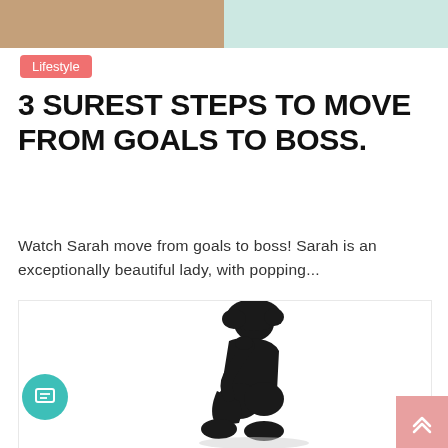[Figure (photo): Top banner image split into two sections: left half shows a person's torso/skin tone background (tan/brown), right half is a light mint/teal background]
Lifestyle
3 SUREST STEPS TO MOVE FROM GOALS TO BOSS.
Watch Sarah move from goals to boss! Sarah is an exceptionally beautiful lady, with popping...
[Figure (photo): Silhouette of a person with curly hair sitting on the floor with knees drawn up and head resting on hand, in a pensive pose against a white background]